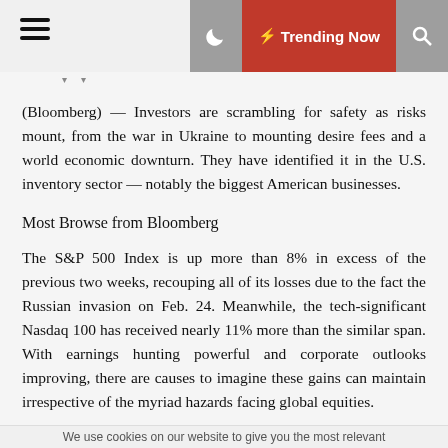Trending Now
(Bloomberg) — Investors are scrambling for safety as risks mount, from the war in Ukraine to mounting desire fees and a world economic downturn. They have identified it in the U.S. inventory sector — notably the biggest American businesses.
Most Browse from Bloomberg
The S&P 500 Index is up more than 8% in excess of the previous two weeks, recouping all of its losses due to the fact the Russian invasion on Feb. 24. Meanwhile, the tech-significant Nasdaq 100 has received nearly 11% more than the similar span. With earnings hunting powerful and corporate outlooks improving, there are causes to imagine these gains can maintain irrespective of the myriad hazards facing global equities.
“It bothers persons simply because they truly feel like the
We use cookies on our website to give you the most relevant